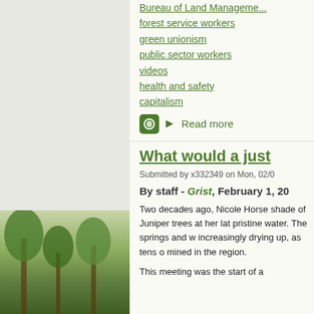Bureau of Land Management
forest service workers
green unionism
public sector workers
videos
health and safety
capitalism
Read more
What would a just
Submitted by x332349 on Mon, 02/0
By staff - Grist, February 1, 20
Two decades ago, Nicole Horse shade of Juniper trees at her lat pristine water. The springs and w increasingly drying up, as tens o mined in the region.
This meeting was the start of a
[Figure (photo): Partial view of trees/forest scene visible at bottom left of page]